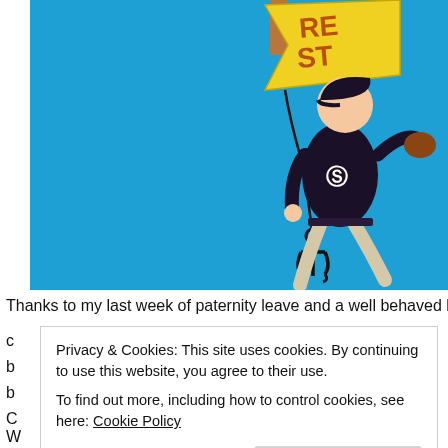[Figure (illustration): A blue background illustration showing a San Diego Padres baseball player in dark uniform pitching/throwing, holding a string attached to an anchor hook, which connects up to a yellow cartoon kite/flag with a brown element at the top. The image is cropped at the top showing partial flag text.]
Thanks to my last week of paternity leave and a well behaved baby, I
Privacy & Cookies: This site uses cookies. By continuing to use this website, you agree to their use.
To find out more, including how to control cookies, see here: Cookie Policy